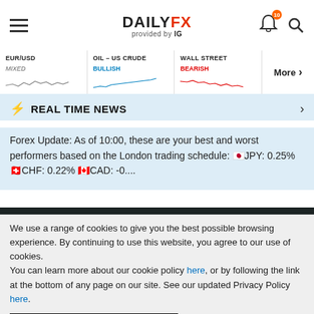DAILYFX provided by IG
[Figure (screenshot): Ticker bar with EUR/USD MIXED, OIL - US CRUDE BULLISH, WALL STREET BEARISH mini line charts and More link]
REAL TIME NEWS
Forex Update: As of 10:00, these are your best and worst performers based on the London trading schedule: 🇯🇵JPY: 0.25% 🇨🇭CHF: 0.22% 🇨🇦CAD: -0....
We use a range of cookies to give you the best possible browsing experience. By continuing to use this website, you agree to our use of cookies.
You can learn more about our cookie policy here, or by following the link at the bottom of any page on our site. See our updated Privacy Policy here.